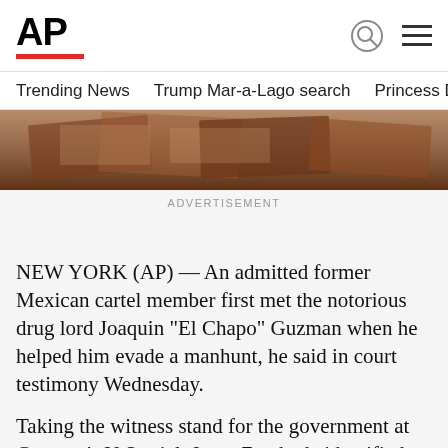AP
Trending News   Trump Mar-a-Lago search   Princess Diana's dea
[Figure (photo): Close-up photo of documents or papers with brown/reddish tones, partially visible]
ADVERTISEMENT
NEW YORK (AP) — An admitted former Mexican cartel member first met the notorious drug lord Joaquin “El Chapo” Guzman when he helped him evade a manhunt, he said in court testimony Wednesday.
Taking the witness stand for the government at Guzman’s U.S. trial, Jesus Zambada identified Guzman